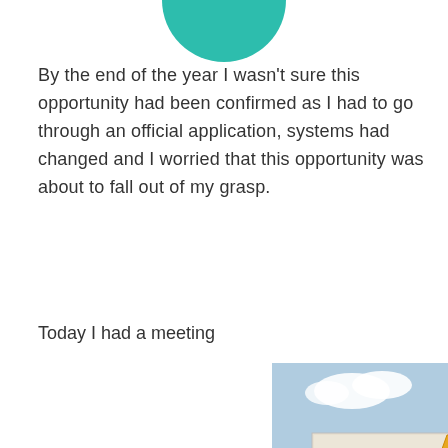[Figure (illustration): Teal/turquoise circular avatar or profile picture, partially visible at the top of the page, cropped at the bottom of the circle.]
By the end of the year I wasn't sure this opportunity had been confirmed as I had to go through an official application, systems had changed and I worried that this opportunity was about to fall out of my grasp.
Today I had a meeting
[Figure (photo): Photograph of a white multi-storey building with arched windows and a large painted yellow necktie mural on its facade. A vehicle is parked in front and there is a blue sky in the background.]